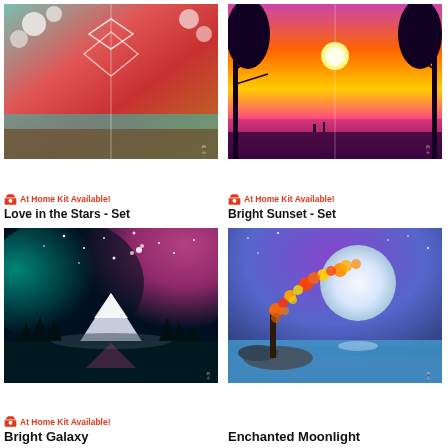[Figure (illustration): Painting of two canvases showing a romantic forest scene with teal water, red/pink sky, cherry blossoms, and geometric diamond shapes with two figures. Title: Love in the Stars - Set]
🛒 At Home Kit Available!
Love in the Stars - Set
[Figure (illustration): Painting of two canvases showing a vivid sunset with pink/orange/yellow sky, silhouetted bare trees on each side, and a calm reflective water below. Title: Bright Sunset - Set]
🛒 At Home Kit Available!
Bright Sunset - Set
[Figure (illustration): Painting showing a galaxy night sky with teal and pink nebula, star clusters, a snow-capped mountain reflected in a lake, pine trees silhouetted in the foreground. Title: Bright Galaxy]
🛒 At Home Kit Available!
Bright Galaxy
[Figure (illustration): Painting showing a large glowing moon with a colorful autumn tree whose leaves arc toward the moon, over a blue lake with rocky shore. Title: Enchanted Moonlight]
Enchanted Moonlight